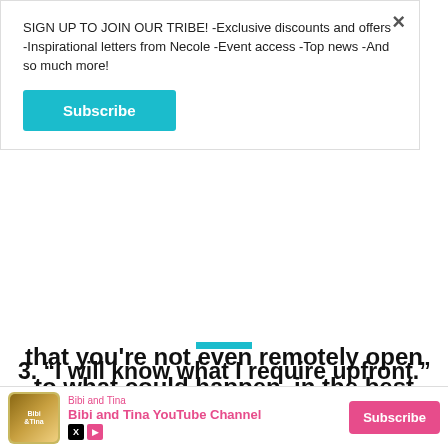SIGN UP TO JOIN OUR TRIBE! -Exclusive discounts and offers -Inspirational letters from Necole -Event access -Top news -And so much more!
Subscribe
that you're not even remotely open to what could happen, in the best way possible, in the future. Even if that "future" is with someone else.
3. “I will know what I require upfront.”
[Figure (other): Dark brown photograph strip at bottom of article]
Bibi and Tina
Bibi and Tina YouTube Channel
Subscribe